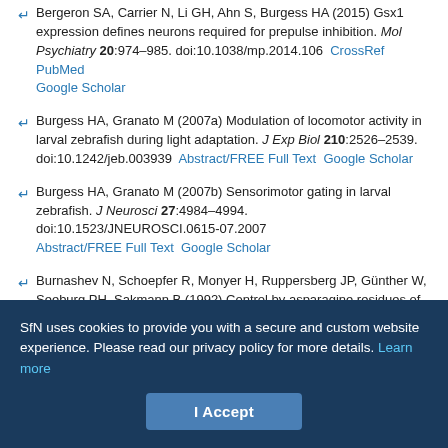Bergeron SA, Carrier N, Li GH, Ahn S, Burgess HA (2015) Gsx1 expression defines neurons required for prepulse inhibition. Mol Psychiatry 20:974–985. doi:10.1038/mp.2014.106  CrossRef  PubMed  Google Scholar
Burgess HA, Granato M (2007a) Modulation of locomotor activity in larval zebrafish during light adaptation. J Exp Biol 210:2526–2539. doi:10.1242/jeb.003939  Abstract/FREE Full Text  Google Scholar
Burgess HA, Granato M (2007b) Sensorimotor gating in larval zebrafish. J Neurosci 27:4984–4994. doi:10.1523/JNEUROSCI.0615-07.2007  Abstract/FREE Full Text  Google Scholar
Burnashev N, Schoepfer R, Monyer H, Ruppersberg JP, Günther W, Seeburg PH, Sakmann B (1992) Control by asparagine residues of calcium permeability and magnesium blockade in the NMDA receptor. Science 257:1415–1419. doi:10.1126/science.1382314
SfN uses cookies to provide you with a secure and custom website experience. Please read our privacy policy for more details. Learn more